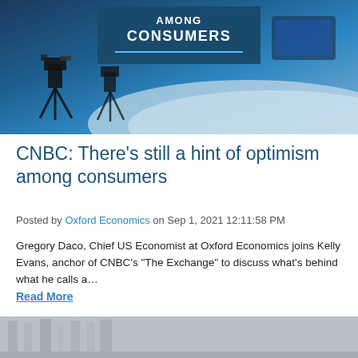[Figure (photo): TV studio background with cameras and blue desk, overlaid with a dark blue title box reading 'AMONG CONSUMERS' in bold white uppercase text with a teal underline]
CNBC: There’s still a hint of optimism among consumers
Posted by Oxford Economics on Sep 1, 2021 12:11:58 PM
Gregory Daco, Chief US Economist at Oxford Economics joins Kelly Evans, anchor of CNBC's "The Exchange" to discuss what's behind what he calls a…
Read More
[Figure (photo): Partial view of a building exterior with classical architecture, appears to be a government or financial institution building]